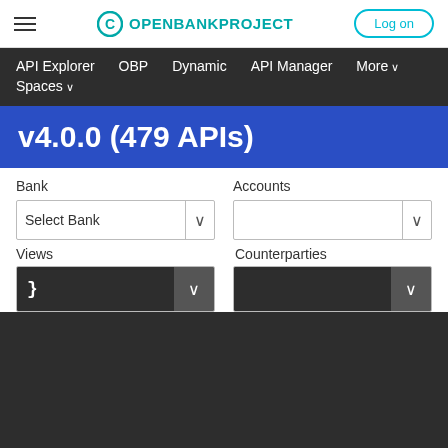OPENBANKPROJECT  Log on
API Explorer  OBP  Dynamic  API Manager  More  Spaces
v4.0.0 (479 APIs)
Bank
Select Bank
Accounts
Views
Counterparties
}